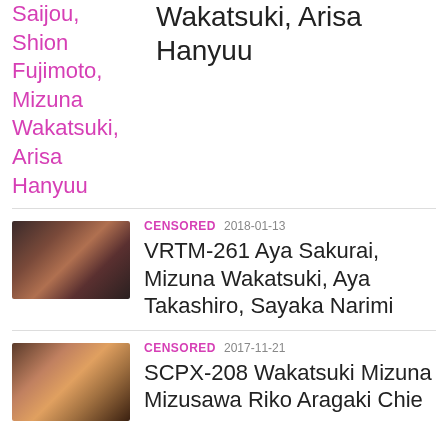Saijou, Shion Fujimoto, Mizuna Wakatsuki, Arisa Hanyuu
Wakatsuki, Arisa Hanyuu
CENSORED 2018-01-13
VRTM-261 Aya Sakurai, Mizuna Wakatsuki, Aya Takashiro, Sayaka Narimi
CENSORED 2017-11-21
SCPX-208 Wakatsuki Mizuna Mizusawa Riko Aragaki Chie